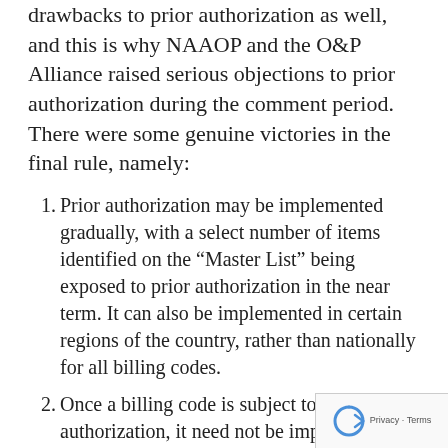drawbacks to prior authorization as well, and this is why NAAOP and the O&P Alliance raised serious objections to prior authorization during the comment period. There were some genuine victories in the final rule, namely:
Prior authorization may be implemented gradually, with a select number of items identified on the “Master List” being exposed to prior authorization in the near term. It can also be implemented in certain regions of the country, rather than nationally for all billing codes.
Once a billing code is subject to prior authorization, it need not be imposed for a full 10-year period, as the proposed rule